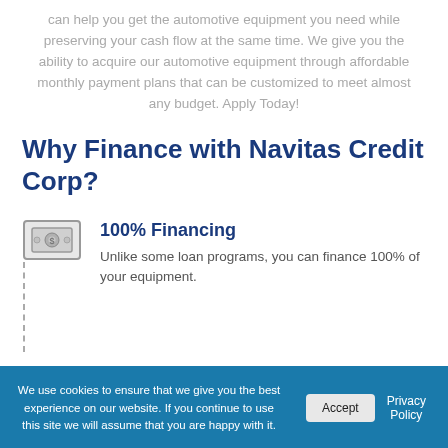can help you get the automotive equipment you need while preserving your cash flow at the same time. We give you the ability to acquire our automotive equipment through affordable monthly payment plans that can be customized to meet almost any budget. Apply Today!
Why Finance with Navitas Credit Corp?
[Figure (illustration): Gray icon of a dollar bill / cash symbol inside a rounded rectangle, with a dashed vertical line below it]
100% Financing
Unlike some loan programs, you can finance 100% of your equipment.
Flexibility
We use cookies to ensure that we give you the best experience on our website. If you continue to use this site we will assume that you are happy with it.